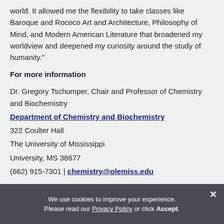world. It allowed me the flexibility to take classes like Baroque and Rococo Art and Architecture, Philosophy of Mind, and Modern American Literature that broadened my worldview and deepened my curiosity around the study of humanity.”
For more information
Dr. Gregory Tschumper, Chair and Professor of Chemistry and Biochemistry
Department of Chemistry and Biochemistry
322 Coulter Hall
The University of Mississippi
University, MS 38677
(662) 915-7301 | chemistry@olemiss.edu
We use cookies to improve your experience. Please read our Privacy Policy or click Accept.